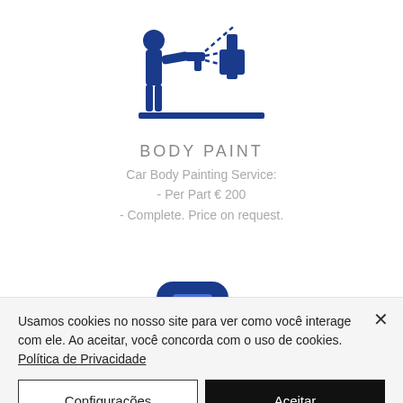[Figure (illustration): Blue icon of a person spray painting a car body, with dashed lines indicating spray direction, on a white background]
BODY PAINT
Car Body Painting Service:
- Per Part € 200
- Complete. Price on request.
[Figure (illustration): Blue icon of a fuel/gas station pump with a rounded square background]
Usamos cookies no nosso site para ver como você interage com ele. Ao aceitar, você concorda com o uso de cookies. Política de Privacidade
Configurações
Aceitar